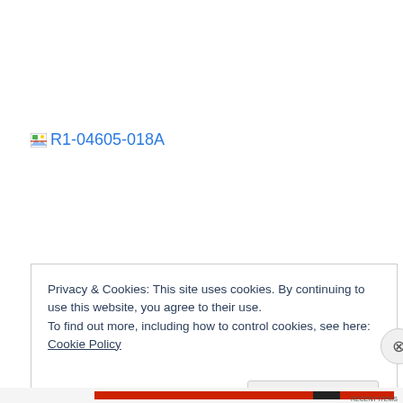[Figure (other): Broken image placeholder with link text 'R1-04605-018A' shown in blue]
Privacy & Cookies: This site uses cookies. By continuing to use this website, you agree to their use.
To find out more, including how to control cookies, see here: Cookie Policy
Close and accept